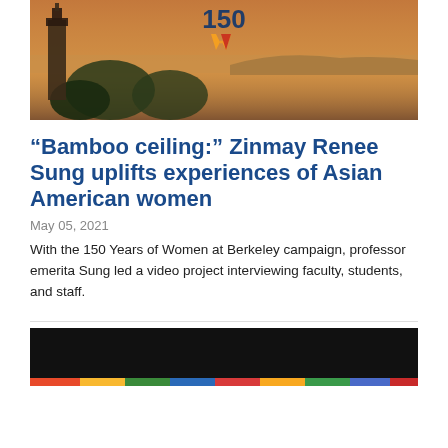[Figure (photo): UC Berkeley campus panorama at golden hour with the Campanile tower visible on the left, trees and bay in the background, and the '150 W' (150 Years of Women at Berkeley) logo overlaid at top center]
“Bamboo ceiling:” Zinmay Renee Sung uplifts experiences of Asian American women
May 05, 2021
With the 150 Years of Women at Berkeley campaign, professor emerita Sung led a video project interviewing faculty, students, and staff.
[Figure (screenshot): Video thumbnail showing a dark/black video player interface with a colorful progress bar at the bottom]